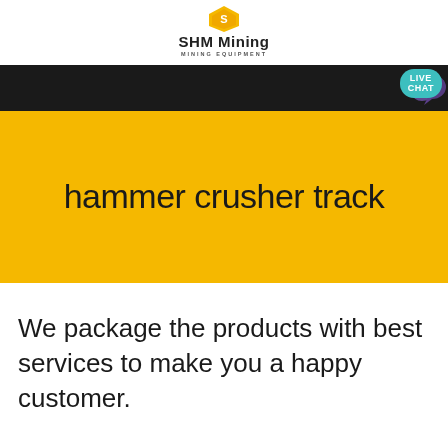[Figure (logo): SHM Mining logo with yellow/orange shield icon, bold text 'SHM Mining' and subtitle 'MINING EQUIPMENT']
[Figure (screenshot): Black navigation bar with teal 'LIVE CHAT' bubble and purple chat icon on the right]
hammer crusher track
We package the products with best services to make you a happy customer.